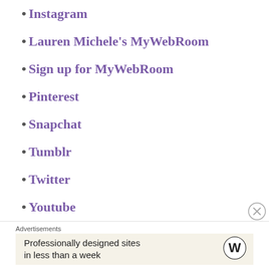Instagram
Lauren Michele's MyWebRoom
Sign up for MyWebRoom
Pinterest
Snapchat
Tumblr
Twitter
Youtube
Advertisements
Professionally designed sites in less than a week